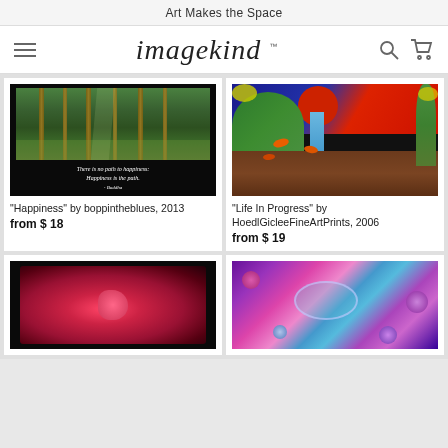Art Makes the Space
[Figure (logo): Imagekind logo with hamburger menu, search icon, and cart icon]
[Figure (photo): Forest photo with Buddha happiness quote on black background]
"Happiness" by boppintheblues, 2013
from $ 18
[Figure (illustration): Colorful fantasy landscape painting with waterfall, red sky, fish, and trees]
"Life In Progress" by HoedlGicleeFineArtPrints, 2006
from $ 19
[Figure (photo): Red flower/coral abstract on black background]
[Figure (photo): Colorful jeweled masquerade mask and flowers in purple and pink tones]